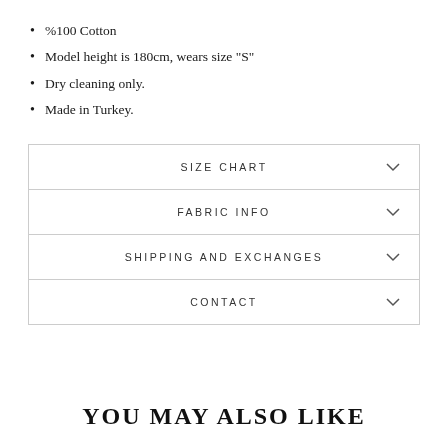%100 Cotton
Model height is 180cm, wears size "S"
Dry cleaning only.
Made in Turkey.
| SIZE CHART |
| FABRIC INFO |
| SHIPPING AND EXCHANGES |
| CONTACT |
YOU MAY ALSO LIKE